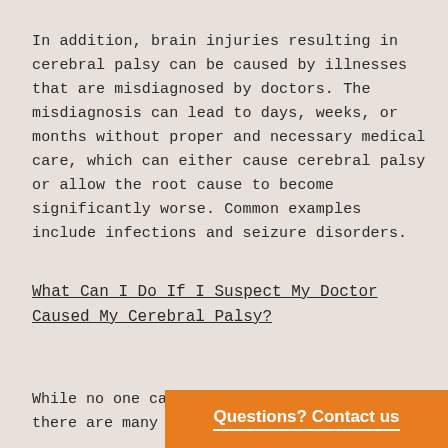In addition, brain injuries resulting in cerebral palsy can be caused by illnesses that are misdiagnosed by doctors. The misdiagnosis can lead to days, weeks, or months without proper and necessary medical care, which can either cause cerebral palsy or allow the root cause to become significantly worse. Common examples include infections and seizure disorders.
What Can I Do If I Suspect My Doctor Caused My Cerebral Palsy?
While no one ca there are many
Questions? Contact us